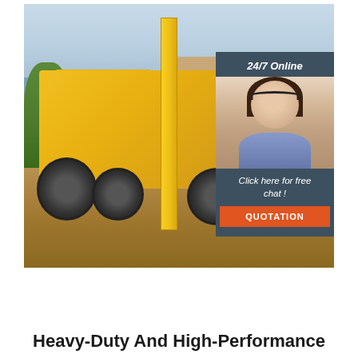[Figure (photo): A yellow heavy-duty motor grader / construction machinery on a dirt surface in front of a brick building. A vertical yellow blade is prominently visible. Overlaid in the top-right corner is a dark blue-grey panel showing '24/7 Online', a smiling female customer service agent with a headset, text 'Click here for free chat!', and an orange 'QUOTATION' button.]
Heavy-Duty And High-Performance